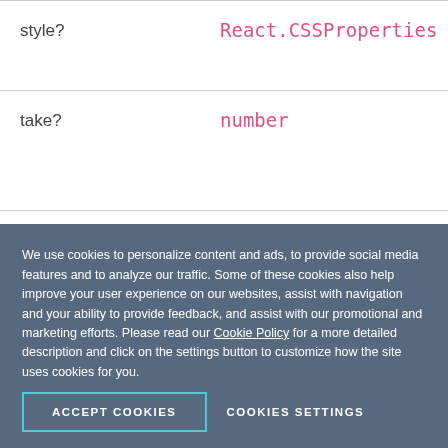| Property | Type |
| --- | --- |
| style? | React.CSSProperties |
| take? | number |
| total? | number |
We use cookies to personalize content and ads, to provide social media features and to analyze our traffic. Some of these cookies also help improve your user experience on our websites, assist with navigation and your ability to provide feedback, and assist with our promotional and marketing efforts. Please read our Cookie Policy for a more detailed description and click on the settings button to customize how the site uses cookies for you.
ACCEPT COOKIES
COOKIES SETTINGS